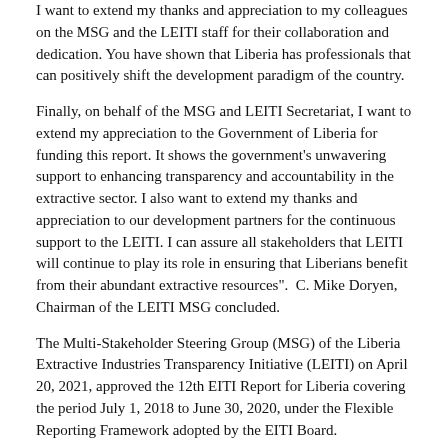I want to extend my thanks and appreciation to my colleagues on the MSG and the LEITI staff for their collaboration and dedication. You have shown that Liberia has professionals that can positively shift the development paradigm of the country.
Finally, on behalf of the MSG and LEITI Secretariat, I want to extend my appreciation to the Government of Liberia for funding this report. It shows the government's unwavering support to enhancing transparency and accountability in the extractive sector. I also want to extend my thanks and appreciation to our development partners for the continuous support to the LEITI. I can assure all stakeholders that LEITI will continue to play its role in ensuring that Liberians benefit from their abundant extractive resources".  C. Mike Doryen, Chairman of the LEITI MSG concluded.
The Multi-Stakeholder Steering Group (MSG) of the Liberia Extractive Industries Transparency Initiative (LEITI) on April 20, 2021, approved the 12th EITI Report for Liberia covering the period July 1, 2018 to June 30, 2020, under the Flexible Reporting Framework adopted by the EITI Board.
The Flexible reporting seeks to ensure that EITI implementation safely contributes to global solutions in response to the Covid-19 pandemic.